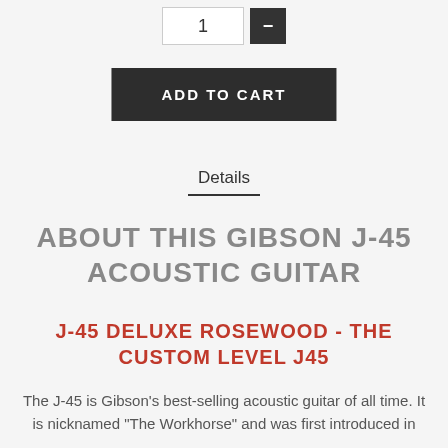[Figure (screenshot): Quantity input box showing '1' and a dark minus button]
[Figure (screenshot): Dark 'ADD TO CART' button]
Details
ABOUT THIS GIBSON J-45 ACOUSTIC GUITAR
J-45 DELUXE ROSEWOOD - THE CUSTOM LEVEL J45
The J-45 is Gibson's best-selling acoustic guitar of all time. It is nicknamed "The Workhorse" and was first introduced in